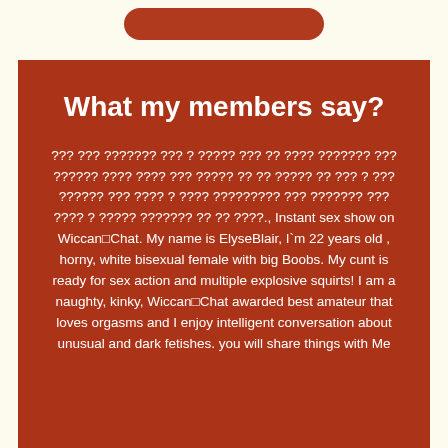[Figure (other): Rounded red/brown button at top of page]
What my members say?
??? ??? ??????? ??? ? ????? ??? ?? ???? ??????? ??? ?????? ???? ???? ??? ????? ?? ?? ????? ?? ??? ? ??? ?????? ??? ???? ? ???? ????????? ??? ??????? ??? ???? ? ????? ??????? ?? ?? ????., Instant sex show on Wiccan□Chat. My name is ElyseBlair, I`m 22 years old , horny, white bisexual female with big Boobs. My cunt is ready for sex action and multiple explosive squirts! I am a naughty, kinky, Wiccan□Chat awarded best amateur that loves orgasms and I enjoy intelligent conversation about unusual and dark fetishes. you will share things with Me